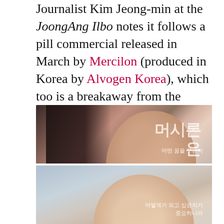Journalist Kim Jeong-min at the JoongAng Ilbo notes it follows a pill commercial released in March by Mercilon (produced in Korea by Alvogen Korea), which too is a breakaway from the cutesy pill commercials of the past:
[Figure (photo): Two stacked video frames from a Korean pill commercial. Top frame: close-up side profile of a young woman with dark hair pulled back, looking upward, with Korean text (머시론) and subtitle (어떤 꿈을 꾸는지) visible. Bottom frame: front-facing young woman smiling, with Korean subtitle (어떻게가 되고 싶은지가 중요하니까).]